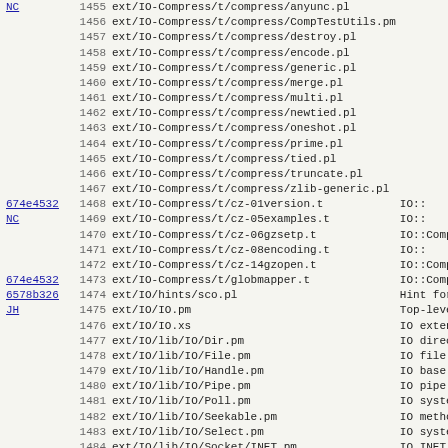| hash | line | path | description |
| --- | --- | --- | --- |
| NC | 1455 | ext/IO-Compress/t/compress/anyunc.pl |  |
|  | 1456 | ext/IO-Compress/t/compress/CompTestUtils.pm |  |
|  | 1457 | ext/IO-Compress/t/compress/destroy.pl |  |
|  | 1458 | ext/IO-Compress/t/compress/encode.pl |  |
|  | 1459 | ext/IO-Compress/t/compress/generic.pl |  |
|  | 1460 | ext/IO-Compress/t/compress/merge.pl |  |
|  | 1461 | ext/IO-Compress/t/compress/multi.pl |  |
|  | 1462 | ext/IO-Compress/t/compress/newtied.pl |  |
|  | 1463 | ext/IO-Compress/t/compress/oneshot.pl |  |
|  | 1464 | ext/IO-Compress/t/compress/prime.pl |  |
|  | 1465 | ext/IO-Compress/t/compress/tied.pl |  |
|  | 1466 | ext/IO-Compress/t/compress/truncate.pl |  |
|  | 1467 | ext/IO-Compress/t/compress/zlib-generic.pl |  |
| 674e4532 | 1468 | ext/IO-Compress/t/cz-01version.t | IO:: |
| NC | 1469 | ext/IO-Compress/t/cz-05examples.t | IO:: |
|  | 1470 | ext/IO-Compress/t/cz-06gzsetp.t | IO::Compress |
|  | 1471 | ext/IO-Compress/t/cz-08encoding.t | IO:: |
|  | 1472 | ext/IO-Compress/t/cz-14gzopen.t | IO::Compress |
| 674e4532 | 1473 | ext/IO-Compress/t/globmapper.t | IO::Compress |
| 6578b326 | 1474 | ext/IO/hints/sco.pl | Hint for IO |
| JH | 1475 | ext/IO/IO.pm | Top-level in |
|  | 1476 | ext/IO/IO.xs | IO extension |
|  | 1477 | ext/IO/lib/IO/Dir.pm | IO directory |
|  | 1478 | ext/IO/lib/IO/File.pm | IO file hand |
|  | 1479 | ext/IO/lib/IO/Handle.pm | IO base hand |
|  | 1480 | ext/IO/lib/IO/Pipe.pm | IO pipe pack |
|  | 1481 | ext/IO/lib/IO/Poll.pm | IO system po |
|  | 1482 | ext/IO/lib/IO/Seekable.pm | IO methods f |
|  | 1483 | ext/IO/lib/IO/Select.pm | IO system se |
|  | 1484 | ext/IO/lib/IO/Socket/INET.pm | IO INET spec |
|  | 1485 | ext/IO/lib/IO/Socket.pm | IO socket ha |
|  | 1486 | ext/IO/lib/IO/Socket/UNIX.pm | IO UNIX spec |